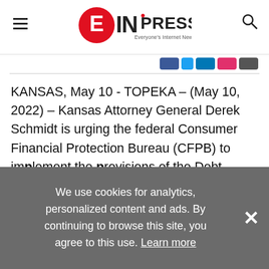EINPresswire — Everyone's Internet News Presswire
KANSAS, May 10 - TOPEKA – (May 10, 2022) – Kansas Attorney General Derek Schmidt is urging the federal Consumer Financial Protection Bureau (CFPB) to implement the provisions of the Debt Bondage Repair Act to provide a path for victims of human trafficking to repair credit histories that were harmed through no fault of their own.
We use cookies for analytics, personalized content and ads. By continuing to browse this site, you agree to this use. Learn more